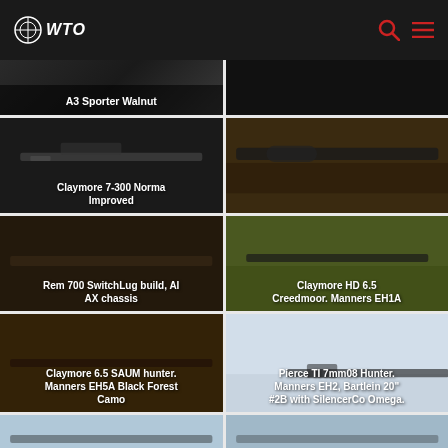WTO
[Figure (photo): A3 Sporter Walnut rifle product photo, dark background]
[Figure (photo): Rifle close-up product photo, dark background]
[Figure (photo): Claymore 7-300 Norma Improved rifle on dark background]
[Figure (photo): Rifle barrel close-up on sandy/dirt background]
[Figure (photo): Rem 700 SwitchLug build AI AX chassis in field/forest]
[Figure (photo): Claymore HD 6.5 Creedmoor Manners EH1A in grass field]
[Figure (photo): Claymore 6.5 SAUM hunter Manners EH5A Black Forest Camo]
[Figure (photo): Pierce TI 7mm08 Hunter Manners EH2 Bartlein 20 #2B with SilencerCo Omega]
[Figure (photo): Partial rifle photo at bottom left]
[Figure (photo): Partial rifle photo at bottom right]